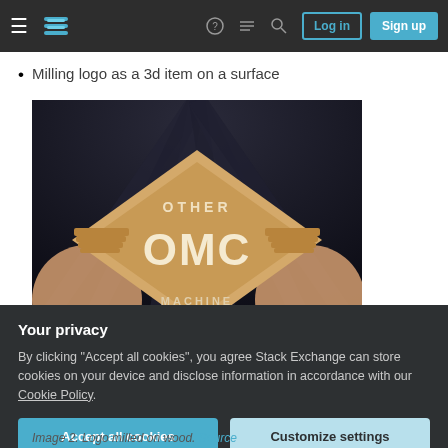Stack Exchange navigation bar with hamburger menu, logo, icons, Log in and Sign up buttons
Milling logo as a 3d item on a surface
[Figure (photo): A hand holding a diamond-shaped wooden milled logo reading 'OTHER OMC MACHINE' with decorative wings, photographed against a dark background.]
Your privacy
By clicking "Accept all cookies", you agree Stack Exchange can store cookies on your device and disclose information in accordance with our Cookie Policy.
Accept all cookies   Customize settings
Image 2. Logo milled on wood. Source